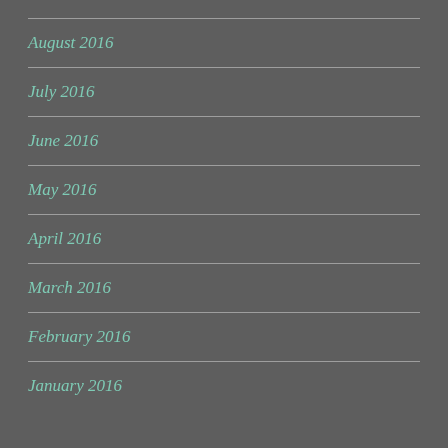August 2016
July 2016
June 2016
May 2016
April 2016
March 2016
February 2016
January 2016